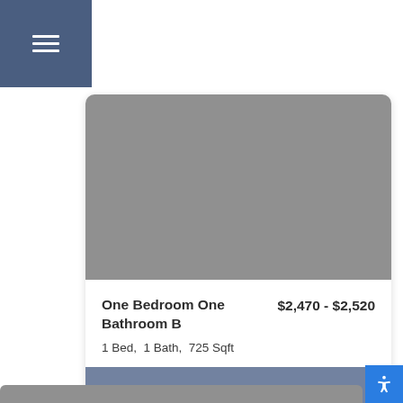[Figure (other): Hamburger menu icon (three horizontal white lines) on a dark blue-gray background nav bar]
[Figure (photo): Gray placeholder image for apartment unit photo]
One Bedroom One Bathroom B
$2,470 - $2,520
1 Bed,  1 Bath,  725 Sqft
Contact Us